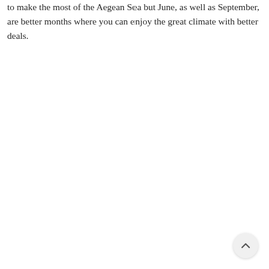to make the most of the Aegean Sea but June, as well as September, are better months where you can enjoy the great climate with better deals.